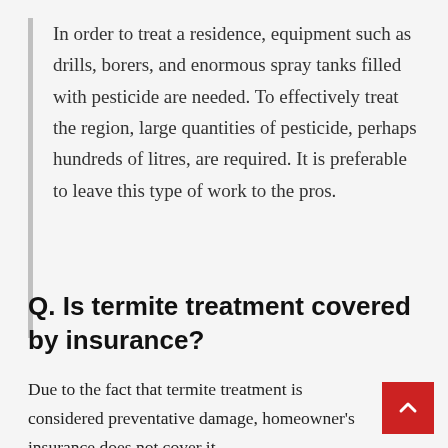In order to treat a residence, equipment such as drills, borers, and enormous spray tanks filled with pesticide are needed. To effectively treat the region, large quantities of pesticide, perhaps hundreds of litres, are required. It is preferable to leave this type of work to the pros.
Q. Is termite treatment covered by insurance?
Due to the fact that termite treatment is considered preventative damage, homeowner's insurance does not cover it.